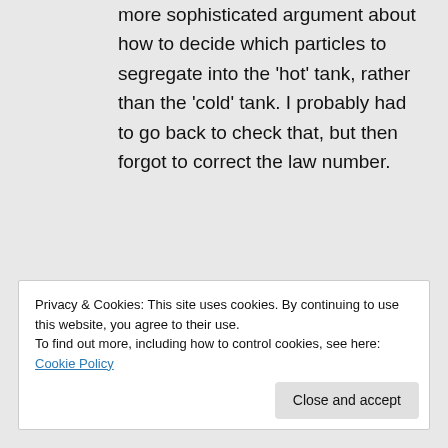more sophisticated argument about how to decide which particles to segregate into the 'hot' tank, rather than the 'cold' tank. I probably had to go back to check that, but then forgot to correct the law number.
★ Like
↵ Reply
Privacy & Cookies: This site uses cookies. By continuing to use this website, you agree to their use. To find out more, including how to control cookies, see here: Cookie Policy
Close and accept